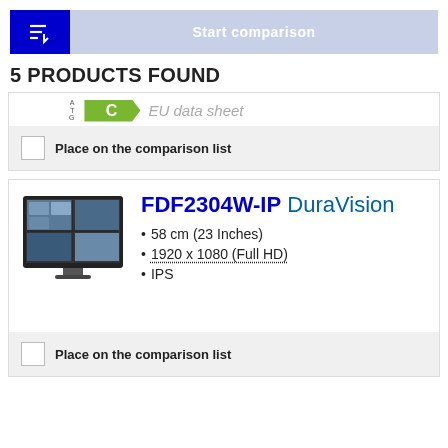[Figure (screenshot): Sort/filter button (blue) and Start comparison button (light blue/lavender)]
5 PRODUCTS FOUND
[Figure (infographic): Energy rating badge showing C rating with EU data sheet label]
Place on the comparison list
[Figure (photo): Monitor product image - FDF2304W-IP DuraVision]
FDF2304W-IP DuraVision
58 cm (23 Inches)
1920 x 1080 (Full HD)
IPS
Place on the comparison list